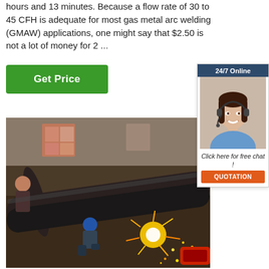hours and 13 minutes. Because a flow rate of 30 to 45 CFH is adequate for most gas metal arc welding (GMAW) applications, one might say that $2.50 is not a lot of money for 2 ...
[Figure (other): Green 'Get Price' button]
[Figure (other): 24/7 online chat widget with woman wearing headset, 'Click here for free chat!' and orange QUOTATION button]
[Figure (photo): Workers in an industrial setting cutting or welding large steel pipes with bright sparks flying]